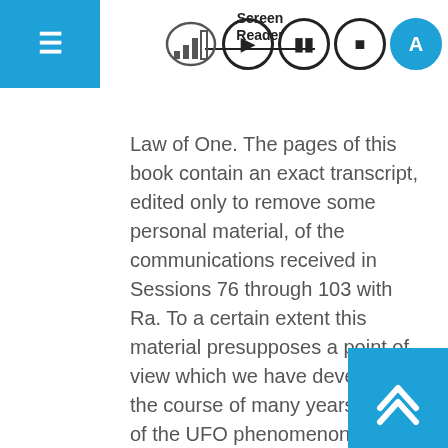Screen Reader
Law of One. The pages of this book contain an exact transcript, edited only to remove some personal material, of the communications received in Sessions 76 through 103 with Ra. To a certain extent this material presupposes a point of view which we have developed in the course of many years' study of the UFO phenomenon.
If you are not familiar with our previous work, a reading of our book, Secrets of the UFO, might prove helpful in understanding the present material. Also, as you can see from this book's title, there are 75 previous sessions with Ra which were collected in The Law of One, Books One, Two, and Three. If at all possible, it is good to begin with the beginning of this material, as later concepts build upon previous concepts. Au these volumes are